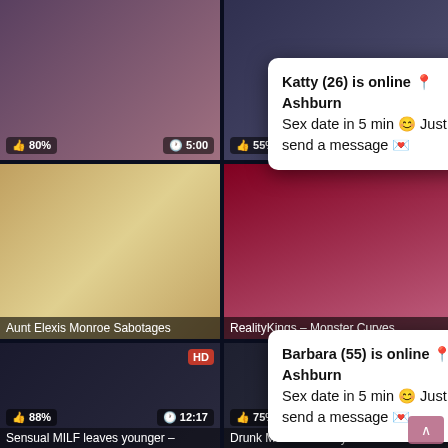[Figure (screenshot): Top-left video thumbnail showing a person, with stat overlays showing 80% likes and 5:00 duration]
[Figure (screenshot): Top-right video thumbnail showing a person, with stat overlays showing 55% likes and 8:45 duration]
Katty (26) is online 📍 Ashburn
Sex date in 5 min 😊 Just send a message 💌
[Figure (screenshot): Middle-left video thumbnail (blonde woman), caption: Aunt Elexis Monroe Sabotages]
[Figure (screenshot): Middle-right video thumbnail, caption: RealityKings – Monster Curves]
Barbara (55) is online 📍 Ashburn
Sex date in 5 min 😊 Just send a message 💌
[Figure (screenshot): Bottom-left video thumbnail HD, showing two people, with 88% likes and 12:17 duration, title: Sensual MILF leaves younger –]
[Figure (screenshot): Bottom-right video thumbnail HD, showing a woman on couch, 75% likes, title: Drunk Mom fucked by Son]